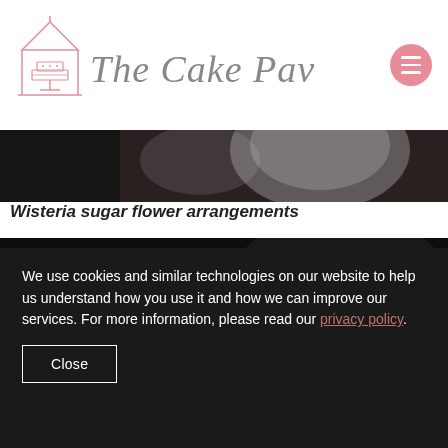[Figure (logo): The Cake Pavilion logo with pink pavilion/cake icon and cursive script text]
[Figure (photo): Top partial photo of a decorated cake with floral sugar decorations]
Wisteria sugar flower arrangements
[Figure (photo): Close-up photo of white/silver intricate sugar flower decorations on a dark cake]
We use cookies and similar technologies on our website to help us understand how you use it and how we can improve our services. For more information, please read our privacy policy.
Close